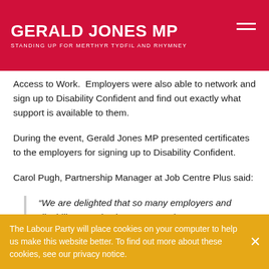GERALD JONES MP — STANDING UP FOR MERTHYR TYDFIL AND RHYMNEY
Access to Work.  Employers were also able to network and sign up to Disability Confident and find out exactly what support is available to them.
During the event, Gerald Jones MP presented certificates to the employers for signing up to Disability Confident.
Carol Pugh, Partnership Manager at Job Centre Plus said:
“We are delighted that so many employers and disability organisations came to the...
The Labour Party will place cookies on your computer to help us make this website better. To find out more about these cookies, see our privacy notice.